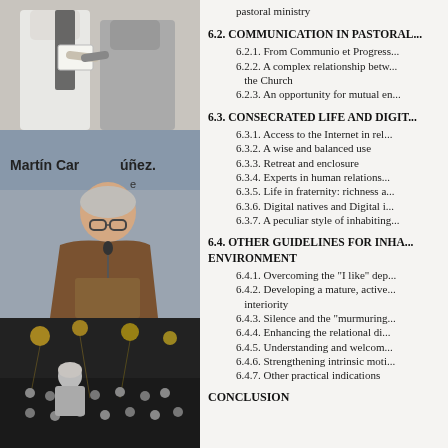[Figure (photo): Photo of two people in religious dress, one handing something to the other, white background]
[Figure (photo): Man named Martín Carlos Núñez speaking at a podium, wearing a brown Franciscan habit, microphone visible]
[Figure (photo): Person seen from behind addressing a large audience in a hall with yellow lights]
pastoral ministry
6.2. COMMUNICATION IN PASTORAL...
6.2.1. From Communio et Progress...
6.2.2. A complex relationship betw... the Church
6.2.3. An opportunity for mutual en...
6.3. CONSECRATED LIFE AND DIGIT...
6.3.1. Access to the Internet in rel...
6.3.2. A wise and balanced use
6.3.3. Retreat and enclosure
6.3.4. Experts in human relations...
6.3.5. Life in fraternity: richness a...
6.3.6. Digital natives and Digital i...
6.3.7. A peculiar style of inhabiting...
6.4. OTHER GUIDELINES FOR INHA... ENVIRONMENT
6.4.1. Overcoming the "I like" dep...
6.4.2. Developing a mature, active... interiority
6.4.3. Silence and the "murmuring...
6.4.4. Enhancing the relational di...
6.4.5. Understanding and welcom...
6.4.6. Strengthening intrinsic moti...
6.4.7. Other practical indications
CONCLUSION